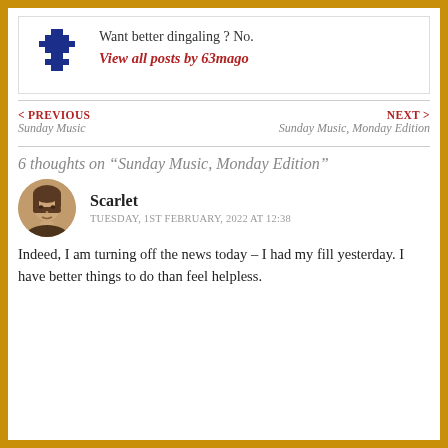[Figure (logo): Blue pixelated cross/anchor logo icon for 63mago author]
Want better dingaling ? No.
View all posts by 63mago
< PREVIOUS
Sunday Music
NEXT >
Sunday Music, Monday Edition
6 thoughts on “Sunday Music, Monday Edition”
[Figure (photo): Sepia-toned circular avatar photo of Scarlet, a woman with a bob haircut]
Scarlet
TUESDAY, 1ST FEBRUARY, 2022 AT 12:38
Indeed, I am turning off the news today – I had my fill yesterday. I have better things to do than feel helpless.